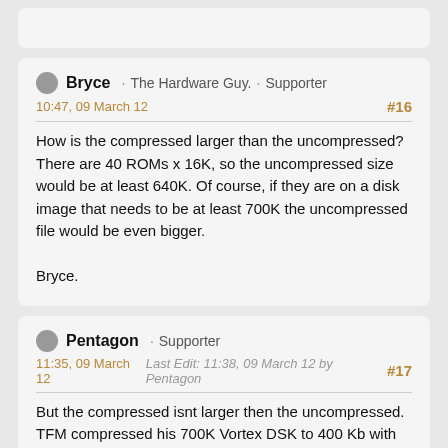[partial post card at top]
Bryce · The Hardware Guy. · Supporter
10:47, 09 March 12
#16
How is the compressed larger than the uncompressed? There are 40 ROMs x 16K, so the uncompressed size would be at least 640K. Of course, if they are on a disk image that needs to be at least 700K the uncompressed file would be even bigger.

Bryce.
Pentagon · Supporter
11:35, 09 March 12
Last Edit: 11:38, 09 March 12 by Pentagon
#17
But the compressed isnt larger then the uncompressed. TFM compressed his 700K Vortex DSK to 400 Kb with WinZip or